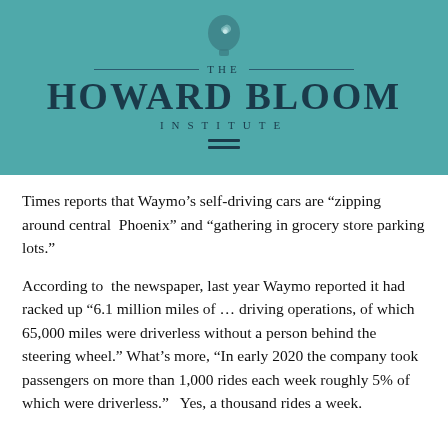[Figure (logo): The Howard Bloom Institute logo with teal background, stylized head icon, decorative rules, and institute name in serif font]
Times reports that Waymo’s self-driving cars are “zipping around central Phoenix” and “gathering in grocery store parking lots.”
According to the newspaper, last year Waymo reported it had racked up “6.1 million miles of … driving operations, of which 65,000 miles were driverless without a person behind the steering wheel.” What’s more, “In early 2020 the company took passengers on more than 1,000 rides each week roughly 5% of which were driverless.”   Yes, a thousand rides a week.